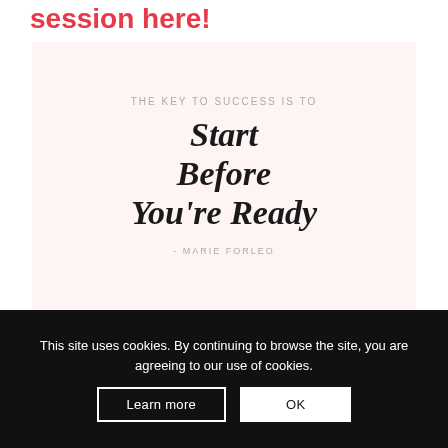session here!
[Figure (illustration): Motivational quote card on a light pink background. Top text reads 'THE KEY TO SUCCESS IS TO' in small gray uppercase letters, followed by large handwritten-style text 'Start Before You're Ready' and attribution '- MARIE FORLEO' in small gray uppercase letters.]
This site uses cookies. By continuing to browse the site, you are agreeing to our use of cookies.
Learn more
OK